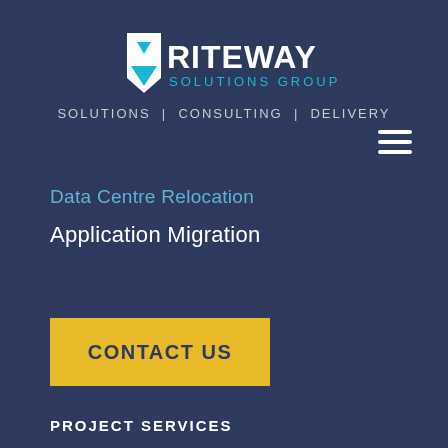[Figure (logo): Riteway Solutions Group logo — white pentagon/tag shape icon with cyan triangle accent, white bold text RITEWAY, cyan text SOLUTIONS GROUP]
SOLUTIONS | CONSULTING | DELIVERY
[Figure (other): Hamburger menu icon — three horizontal white lines]
Data Centre Relocation
Application Migration
CONTACT US
PROJECT SERVICES